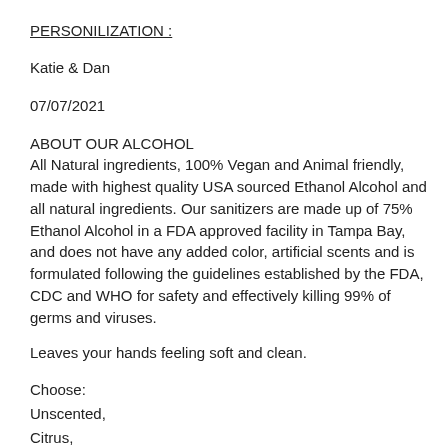PERSONILIZATION :
Katie & Dan
07/07/2021
ABOUT OUR ALCOHOL
All Natural ingredients, 100% Vegan and Animal friendly, made with highest quality USA sourced Ethanol Alcohol and all natural ingredients. Our sanitizers are made up of 75% Ethanol Alcohol in a FDA approved facility in Tampa Bay, and does not have any added color, artificial scents and is formulated following the guidelines established by the FDA, CDC and WHO for safety and effectively killing 99% of germs and viruses.
Leaves your hands feeling soft and clean.
Choose:
Unscented,
Citrus,
Eucalyptus Mint or